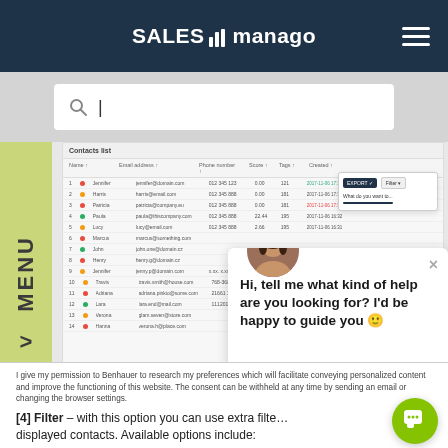SALESmanago
[Figure (screenshot): Search bar with magnifying glass icon and cursor on light gray background]
[Figure (screenshot): SALESmanago CRM contacts list panel showing a table of contacts with columns for name, email, phone, score, tags, and dates. A chat popup widget is open in the lower right corner with an avatar of a woman and the message: Hi, tell me what kind of help are you looking for? I'd be happy to guide you. A dropdown menu is visible in the top right of the contacts panel. A vertical green MENU tab is on the left side.]
I give my permission to Benhauer to research my preferences which will facilitate conveying personalized content and improve the functioning of this website. The consent can be withheld at any time by sending an email or changing the browser settings.
[4] Filter – with this option you can use extra filt… displayed contacts. Available options include: